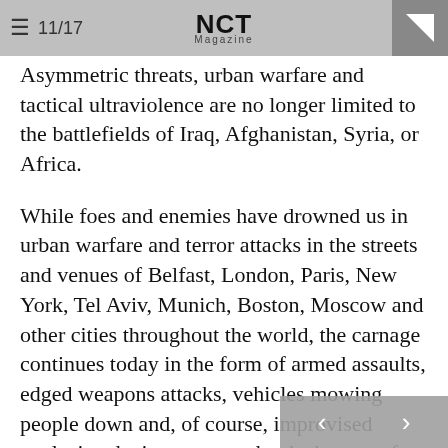≡  11/17   NCT Magazine
Asymmetric threats, urban warfare and tactical ultraviolence are no longer limited to the battlefields of Iraq, Afghanistan, Syria, or Africa.
While foes and enemies have drowned us in urban warfare and terror attacks in the streets and venues of Belfast, London, Paris, New York, Tel Aviv, Munich, Boston, Moscow and other cities throughout the world, the carnage continues today in the form of armed assaults, edged weapons attacks, vehicles mowing people down and, of course, improvised explosive devices at our schools, houses of worship, shopping centers and other locations. Sometimes, multiple modalities may be used such as semi-automatic weapons, assault type rifles, explosive, or even incendiary devices.